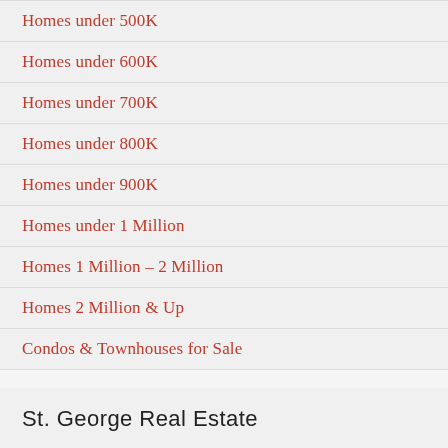Homes under 500K
Homes under 600K
Homes under 700K
Homes under 800K
Homes under 900K
Homes under 1 Million
Homes 1 Million – 2 Million
Homes 2 Million & Up
Condos & Townhouses for Sale
St. George Real Estate